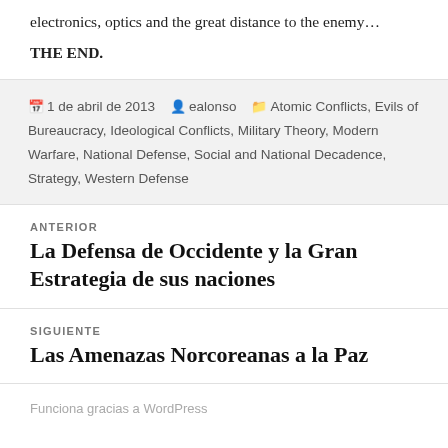electronics, optics and the great distance to the enemy…
THE END.
1 de abril de 2013  ealonso  Atomic Conflicts, Evils of Bureaucracy, Ideological Conflicts, Military Theory, Modern Warfare, National Defense, Social and National Decadence, Strategy, Western Defense
ANTERIOR
La Defensa de Occidente y la Gran Estrategia de sus naciones
SIGUIENTE
Las Amenazas Norcoreanas a la Paz
Funciona gracias a WordPress